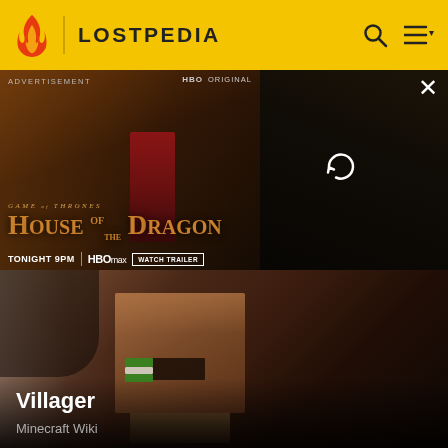LOSTPEDIA
[Figure (screenshot): Advertisement banner for House of the Dragon on HBO Max. Shows 'ADVERTISEMENT' label, 'HBO ORIGINAL' text, 'GAME of THRONES HOUSE OF THE DRAGON TONIGHT 9PM | HBOMAX | WATCH TRAILER', close button X, and reload icon.]
[Figure (photo): Minecraft Villager 3D render showing a blocky brown character with green and white nose stripe detail, partially lit with gradient background. Title text 'Villager' and subtitle 'Minecraft Wiki' overlaid at bottom.]